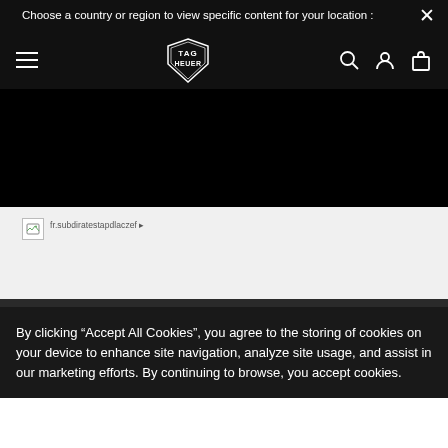Choose a country or region to view specific content for your location :
[Figure (logo): TAG Heuer logo in white on black navigation bar with hamburger menu, search, account, and bag icons]
[Figure (photo): Black hero area - product image area of TAG Heuer website with broken image placeholder and product URL text]
By clicking “Accept All Cookies”, you agree to the storing of cookies on your device to enhance site navigation, analyze site usage, and assist in our marketing efforts. By continuing to browse, you accept cookies.